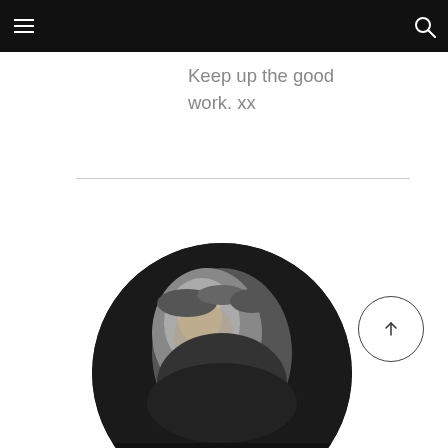Keep up the good work. xx
[Figure (photo): Black and white circular portrait photo of a person, cropped to show head and upper shoulders, partially visible at bottom of page]
[Figure (other): Circular button with upward arrow icon]